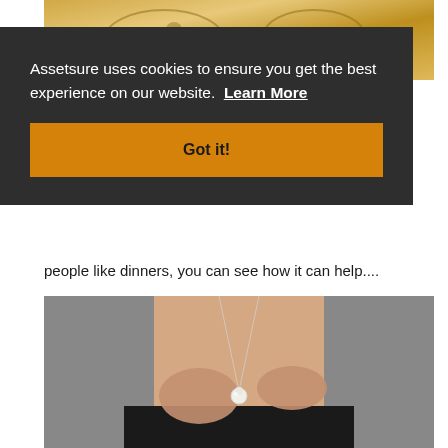[Figure (photo): Close-up of ornate gold jewelry with decorative scrollwork and gemstones, cropped at top of page]
Assetsure uses cookies to ensure you get the best experience on our website.  Learn More
Got it!
people like dinners, you can see how it can help....
[Figure (photo): Woman wearing a pearl/crystal pendant necklace on a silver chain, dressed in black, hands touching chest area, gray background]